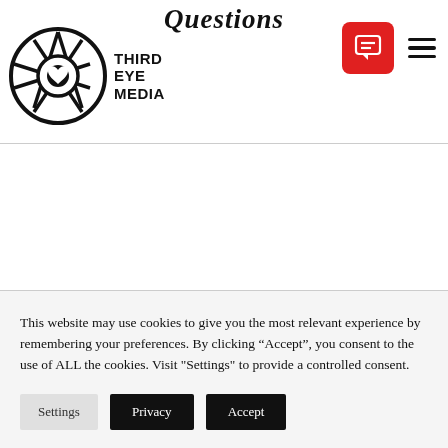Questions
[Figure (logo): Third Eye Media logo: circular eye/camera aperture icon with 'THIRD EYE MEDIA' text to the right in bold sans-serif]
[Figure (other): Red rounded square chat/comment icon button and hamburger menu icon (three horizontal lines) in the top right navigation area]
This website may use cookies to give you the most relevant experience by remembering your preferences. By clicking “Accept”, you consent to the use of ALL the cookies. Visit "Settings" to provide a controlled consent.
Settings | Privacy | Accept